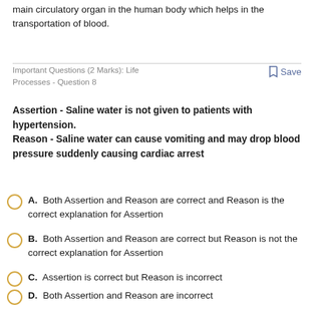main circulatory organ in the human body which helps in the transportation of blood.
Important Questions (2 Marks): Life Processes - Question 8
Save
Assertion - Saline water is not given to patients with hypertension.
Reason - Saline water can cause vomiting and may drop blood pressure suddenly causing cardiac arrest
A. Both Assertion and Reason are correct and Reason is the correct explanation for Assertion
B. Both Assertion and Reason are correct but Reason is not the correct explanation for Assertion
C. Assertion is correct but Reason is incorrect
D. Both Assertion and Reason are incorrect